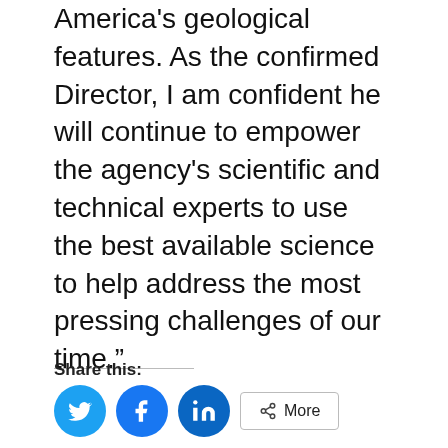America's geological features. As the confirmed Director, I am confident he will continue to empower the agency's scientific and technical experts to use the best available science to help address the most pressing challenges of our time.”
Share this:
[Figure (other): Social share buttons: Twitter (blue circle with bird icon), Facebook (blue circle with f icon), LinkedIn (blue circle with in icon), and a More button with share icon]
Loading...
Related